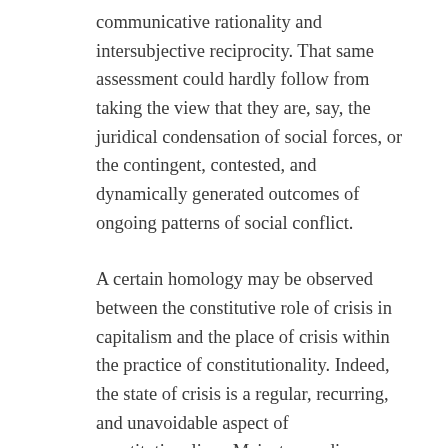communicative rationality and intersubjective reciprocity. That same assessment could hardly follow from taking the view that they are, say, the juridical condensation of social forces, or the contingent, contested, and dynamically generated outcomes of ongoing patterns of social conflict.
A certain homology may be observed between the constitutive role of crisis in capitalism and the place of crisis within the practice of constitutionality. Indeed, the state of crisis is a regular, recurring, and unavoidable aspect of constitutionalism. Mainstream discourses of constitutional crisis tend to imagine that constitutional orders possess social teloi that they pursue smoothly on their own terms. But